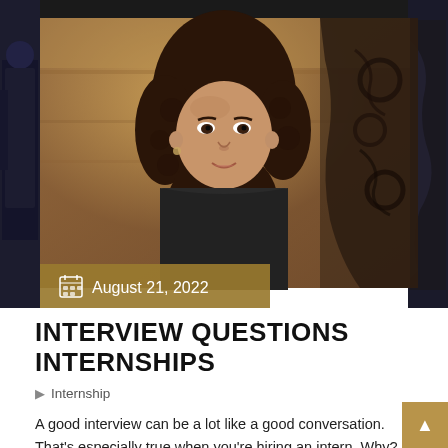[Figure (photo): Blog post header image collage: center shows a young woman with curly hair in a golden/stone staircase setting; left and right sides show dark-suited professional people in the background; date overlay bar at bottom left reads August 21, 2022]
INTERVIEW QUESTIONS INTERNSHIPS
Internship
A good interview can be a lot like a good conversation. That's especially true when you're hiring an intern. Why? Since you're not making a permanent hire, you can